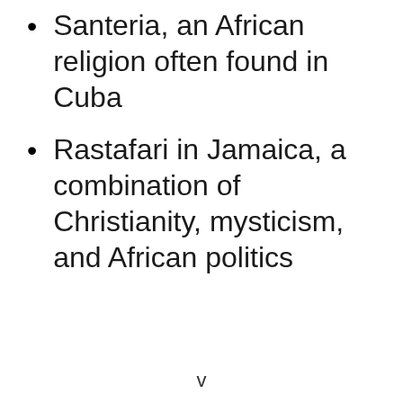Santeria, an African religion often found in Cuba
Rastafari in Jamaica, a combination of Christianity, mysticism, and African politics
v